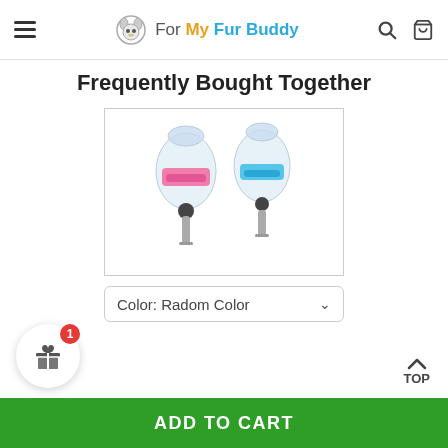For My Fur Buddy — navigation header with hamburger menu, logo, search and cart icons
Frequently Bought Together
[Figure (photo): Two pet water bottle sipper attachments — one with a pink clip and one with a blue clip — both transparent plastic with metal drinking spouts]
Color: Radom Color
ADD TO CART